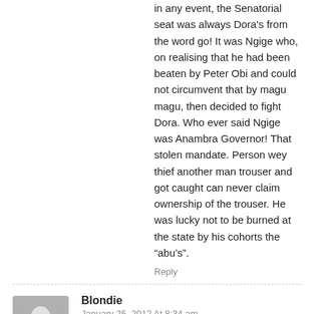in any event, the Senatorial seat was always Dora's from the word go! It was Ngige who, on realising that he had been beaten by Peter Obi and could not circumvent that by magu magu, then decided to fight Dora. Who ever said Ngige was Anambra Governor! That stolen mandate. Person wey thief another man trouser and got caught can never claim ownership of the trouser. He was lucky not to be burned at the state by his cohorts the “abu’s”.
Reply
Blondie
January 25, 2012 At 8:34 am
You can alawys tell an expert! Thanks for contributing.
Reply